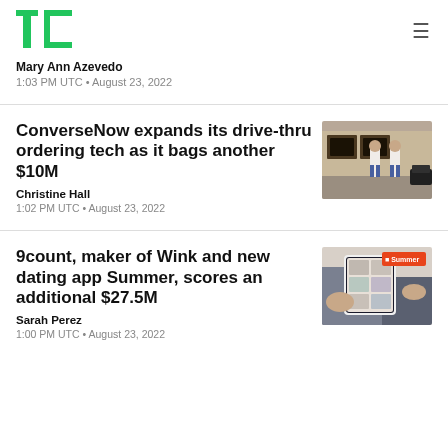[Figure (logo): TechCrunch TC green logo]
Mary Ann Azevedo
1:03 PM UTC • August 23, 2022
ConverseNow expands its drive-thru ordering tech as it bags another $10M
[Figure (photo): Two men standing outside a fast-food drive-thru]
Christine Hall
1:02 PM UTC • August 23, 2022
9count, maker of Wink and new dating app Summer, scores an additional $27.5M
[Figure (photo): Hands holding a smartphone showing the Summer dating app]
Sarah Perez
1:00 PM UTC • August 23, 2022